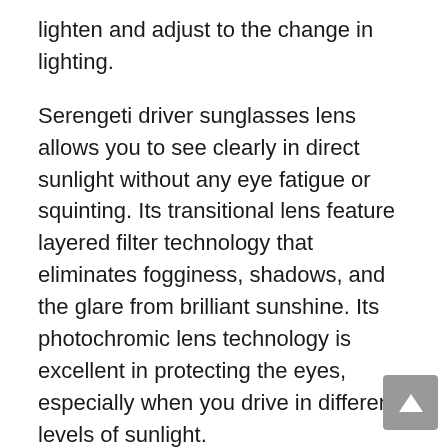lighten and adjust to the change in lighting.
Serengeti driver sunglasses lens allows you to see clearly in direct sunlight without any eye fatigue or squinting. Its transitional lens feature layered filter technology that eliminates fogginess, shadows, and the glare from brilliant sunshine. Its photochromic lens technology is excellent in protecting the eyes, especially when you drive in different levels of sunlight.
Besides, Serengeti’s frame made of acetate, titanium, and nylon is durable and flexible. This sunglasses arms are adjustable for any face. Don’t let its thin appearance fool you. They are not only durable and pliable but also sweat-resistant.